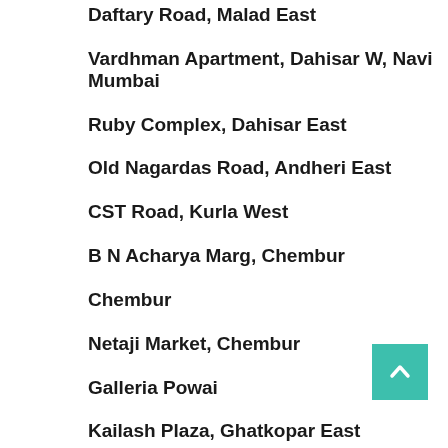Daftary Road, Malad East
Vardhman Apartment, Dahisar W, Navi Mumbai
Ruby Complex, Dahisar East
Old Nagardas Road, Andheri East
CST Road, Kurla West
B N Acharya Marg, Chembur
Chembur
Netaji Market, Chembur
Galleria Powai
Kailash Plaza, Ghatkopar East
Station Road, Bhandup West
M G Road, Mulund West,